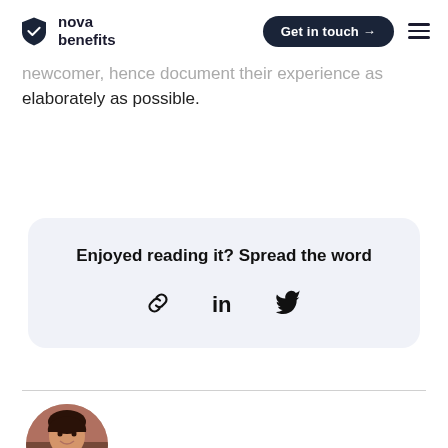nova benefits | Get in touch →
newcomer, hence document their experience as elaborately as possible.
Enjoyed reading it? Spread the word
[Figure (infographic): Share icons: link, LinkedIn, Twitter]
[Figure (photo): Circular author profile photo of a woman smiling]